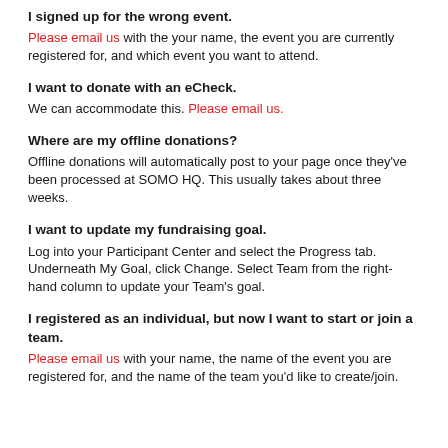I signed up for the wrong event.
Please email us with the your name, the event you are currently registered for, and which event you want to attend.
I want to donate with an eCheck.
We can accommodate this. Please email us.
Where are my offline donations?
Offline donations will automatically post to your page once they've been processed at SOMO HQ. This usually takes about three weeks.
I want to update my fundraising goal.
Log into your Participant Center and select the Progress tab. Underneath My Goal, click Change. Select Team from the right-hand column to update your Team's goal.
I registered as an individual, but now I want to start or join a team.
Please email us with your name, the name of the event you are registered for, and the name of the team you'd like to create/join.